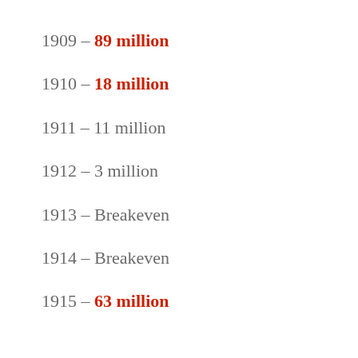1909 – 89 million
1910 – 18 million
1911 – 11 million
1912 – 3 million
1913 – Breakeven
1914 – Breakeven
1915 – 63 million